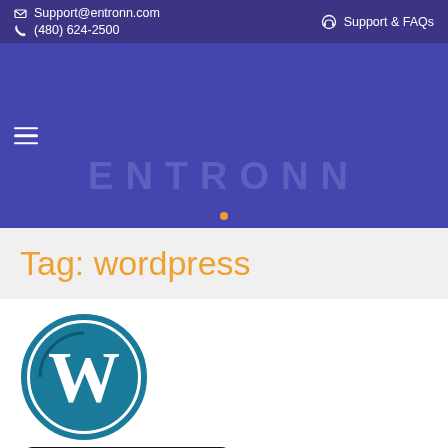Support@entronn.com  (480) 624-2500  Support & FAQs
[Figure (screenshot): Entronn website hero/navigation area with purple background and ENTRONN text watermark logo]
Tag: wordpress
[Figure (logo): WordPress circular logo with W letter in teal and blue]
[Figure (illustration): Blue server/hosting pill-shaped icon with three dots and a dash]
WordPress Deluxe
Chat Now